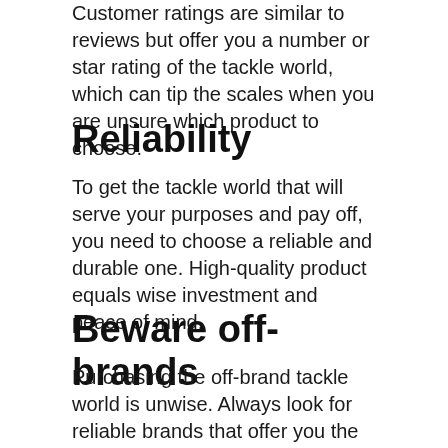Customer ratings are similar to reviews but offer you a number or star rating of the tackle world, which can tip the scales when you are unsure which product to choose.
Reliability
To get the tackle world that will serve your purposes and pay off, you need to choose a reliable and durable one. High-quality product equals wise investment and peace of mind.
Beware off-brands
Purchasing the off-brand tackle world is unwise. Always look for reliable brands that offer you the highest possible quality and are